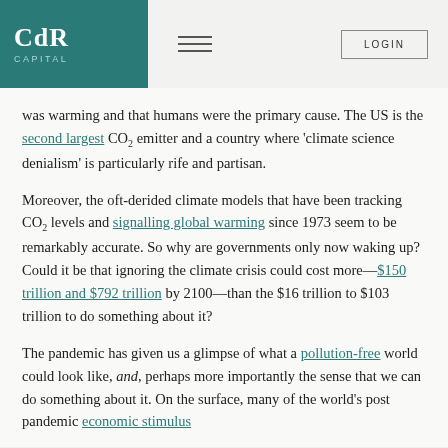CdR CAPITAL | LOGIN
was warming and that humans were the primary cause. The US is the second largest CO₂ emitter and a country where 'climate science denialism' is particularly rife and partisan.
Moreover, the oft-derided climate models that have been tracking CO₂ levels and signalling global warming since 1973 seem to be remarkably accurate. So why are governments only now waking up? Could it be that ignoring the climate crisis could cost more—$150 trillion and $792 trillion by 2100—than the $16 trillion to $103 trillion to do something about it?
The pandemic has given us a glimpse of what a pollution-free world could look like, and, perhaps more importantly the sense that we can do something about it. On the surface, many of the world's post pandemic economic stimulus